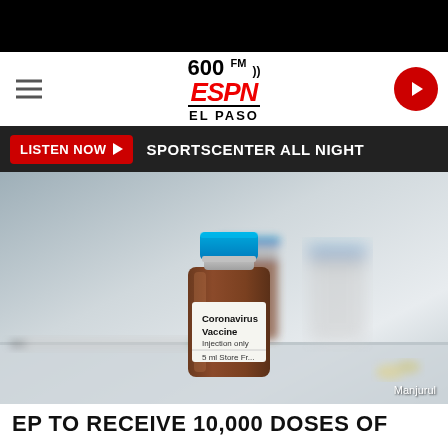[Figure (logo): 600 FM ESPN El Paso radio station logo in black, red and white]
[Figure (other): Red circular play button icon]
LISTEN NOW ▶  SPORTSCENTER ALL NIGHT
[Figure (photo): Close-up photo of a small glass vial labeled 'Coronavirus Vaccine Injection only 5 ml Store Fr...' with a blue cap, sitting on a white surface with a syringe and other blurred vials in the background]
Manjurul
EP TO RECEIVE 10,000 DOSES OF